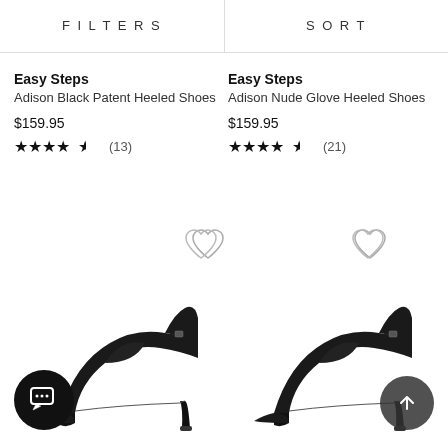FILTERS   SORT
Easy Steps
Adison Black Patent Heeled Shoes
$159.95
★★★★½ (13)
Easy Steps
Adison Nude Glove Heeled Shoes
$159.95
★★★★½ (21)
[Figure (photo): Black heeled pump shoe (Easy Steps Adison Black Patent) shown from the side on white background]
[Figure (photo): Black heeled pump shoe (Easy Steps Adison Nude Glove) shown from the side on white background, with scroll-to-top circular button]